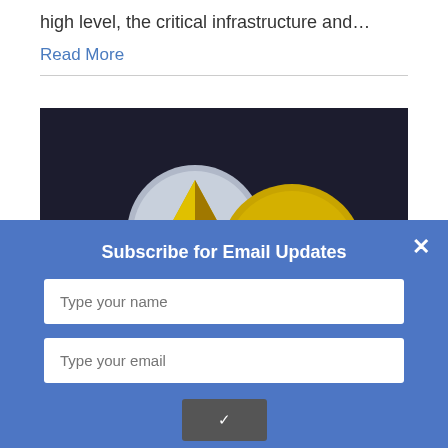high level, the critical infrastructure and…
Read More
[Figure (photo): Three cryptocurrency coins on a dark background: Ethereum (silver coin with gold diamond logo), Ripple (gold coin with world map), and Bitcoin (large gold coin with B symbol)]
Subscribe for Email Updates
Type your name
Type your email